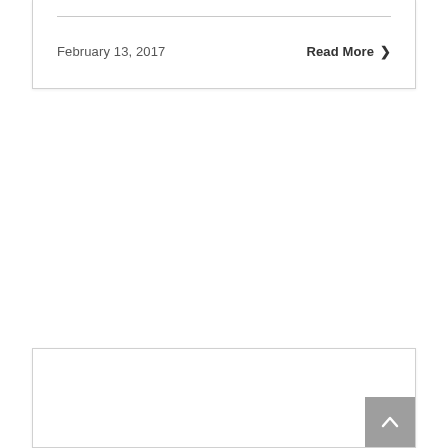February 13, 2017
Read More >
[Figure (other): Back to top button with upward chevron arrow on grey background]